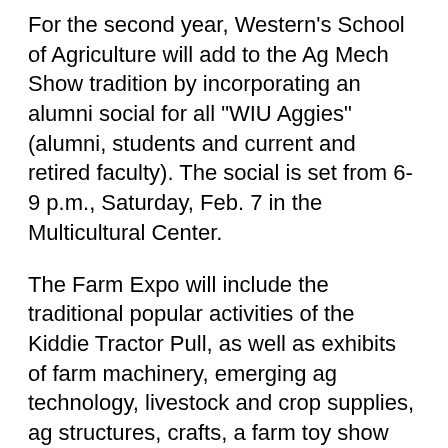For the second year, Western's School of Agriculture will add to the Ag Mech Show tradition by incorporating an alumni social for all "WIU Aggies" (alumni, students and current and retired faculty). The social is set from 6-9 p.m., Saturday, Feb. 7 in the Multicultural Center.
The Farm Expo will include the traditional popular activities of the Kiddie Tractor Pull, as well as exhibits of farm machinery, emerging ag technology, livestock and crop supplies, ag structures, crafts, a farm toy show and much more.
In addition, two career development events (CDE) are slated from 9 a.m.-3 p.m. Saturday (Feb. 7): the Illinois FFA State Ag Issues CDE and Illinois FFA State Job Interview CDE.
For more information about the Ag Mech Show, visit www.wiufarmexpo.com or call (309) 298-1080. Individuals